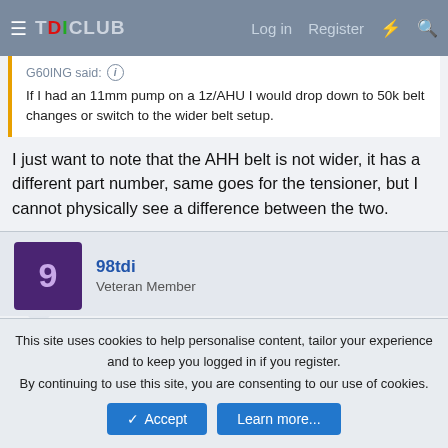TDICLUB — Log in  Register
G60ING said: ↑
If I had an 11mm pump on a 1z/AHU I would drop down to 50k belt changes or switch to the wider belt setup.
I just want to note that the AHH belt is not wider, it has a different part number, same goes for the tensioner, but I cannot physically see a difference between the two.
98tdi
Veteran Member
Jan 22, 2012
#33
Doing this swap very soon to bring my 97 passat back from the dead.
This site uses cookies to help personalise content, tailor your experience and to keep you logged in if you register.
By continuing to use this site, you are consenting to our use of cookies.
Accept  Learn more...